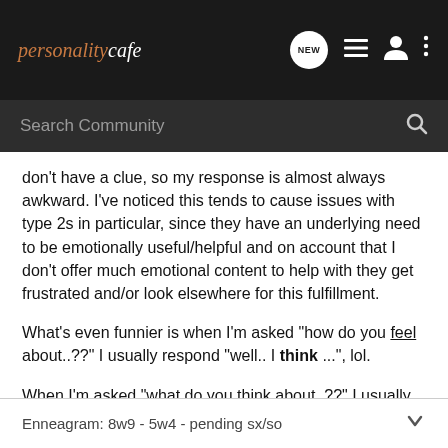personality cafe — NEW [icons]
Search Community
don't have a clue, so my response is almost always awkward. I've noticed this tends to cause issues with type 2s in particular, since they have an underlying need to be emotionally useful/helpful and on account that I don't offer much emotional content to help with they get frustrated and/or look elsewhere for this fulfillment.
What's even funnier is when I'm asked "how do you feel about..??" I usually respond "well.. I think ...", lol.
When I'm asked "what do you think about..??" I usually give my honest 'logical' breakdown.
Enneagram: 8w9 - 5w4 - pending sx/so